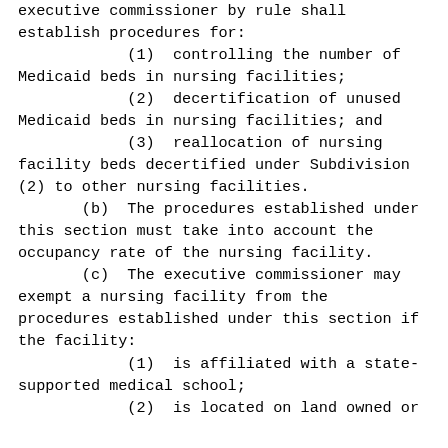executive commissioner by rule shall establish procedures for:
(1)  controlling the number of Medicaid beds in nursing facilities;
(2)  decertification of unused Medicaid beds in nursing facilities; and
(3)  reallocation of nursing facility beds decertified under Subdivision (2) to other nursing facilities.
(b)  The procedures established under this section must take into account the occupancy rate of the nursing facility.
(c)  The executive commissioner may exempt a nursing facility from the procedures established under this section if the facility:
(1)  is affiliated with a state-supported medical school;
(2)  is located on land owned or